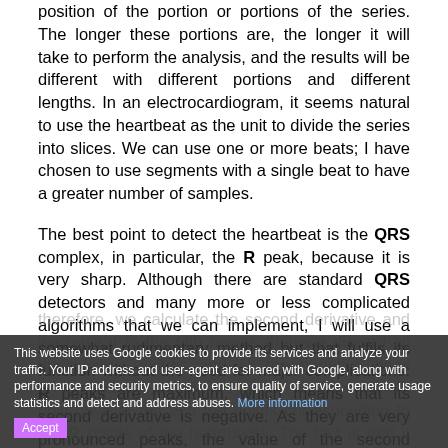position of the portion or portions of the series. The longer these portions are, the longer it will take to perform the analysis, and the results will be different with different portions and different lengths. In an electrocardiogram, it seems natural to use the heartbeat as the unit to divide the series into slices. We can use one or more beats; I have chosen to use segments with a single beat to have a greater number of samples.
The best point to detect the heartbeat is the QRS complex, in particular, the R peak, because it is very sharp. Although there are standard QRS detectors and many more or less complicated algorithms that we can implement, I will use a somewhat rudimentary method but that fulfils its function without the need for major complications: R peaks are maximum, which means that its second derivative is negative. As they are very pronounced peaks, the value of the second derivative is relatively high, and we can amplify that value by raising its value to an odd power, so that it retains the sign. I have made the calculations using an exponent with a value of five.
therefore, we calculate the second derivative and we raise it to the fifth power, then we discard all the positive values and all the negative ones greater than a certain threshold, and we should only have at the end the points corresponding to the R points of the heartbeats. The fact is that it works quite well, if the ECG signal does not have much noise. In this last case, we can pre-filter the
This website uses Google cookies to provide its services and analyze your traffic. Your IP address and user-agent are shared with Google, along with performance and security metrics, to ensure quality of service, generate usage statistics and detect and address abuses. More information